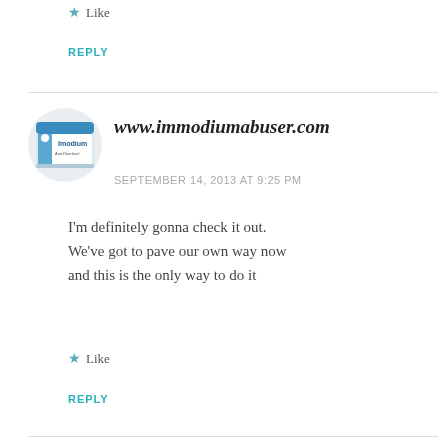Like
REPLY
[Figure (illustration): Imodium Anti-Diarrheal product box, circular avatar image]
www.immodiumabuser.com
SEPTEMBER 14, 2013 AT 9:25 PM
I'm definitely gonna check it out. We've got to pave our own way now and this is the only way to do it
Like
REPLY